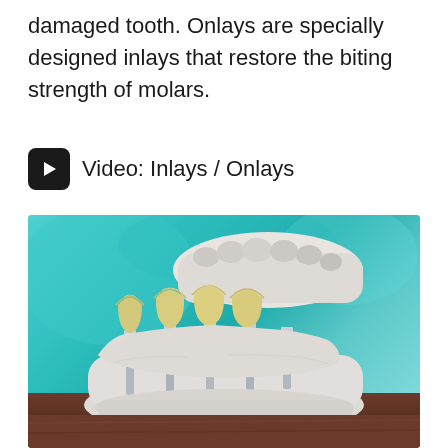damaged tooth. Onlays are specially designed inlays that restore the biting strength of molars.
Video: Inlays / Onlays
[Figure (photo): Photograph of a dental model showing a lower jaw plaster cast with metal implant posts and tooth-colored ceramic crown restorations (inlays/onlays), set against a teal background on a wooden surface.]